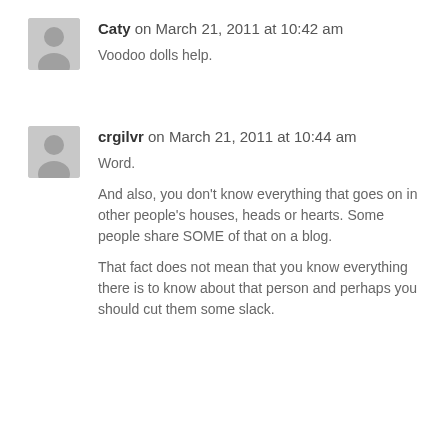Caty on March 21, 2011 at 10:42 am
Voodoo dolls help.
crgilvr on March 21, 2011 at 10:44 am
Word.

And also, you don't know everything that goes on in other people's houses, heads or hearts. Some people share SOME of that on a blog.

That fact does not mean that you know everything there is to know about that person and perhaps you should cut them some slack.